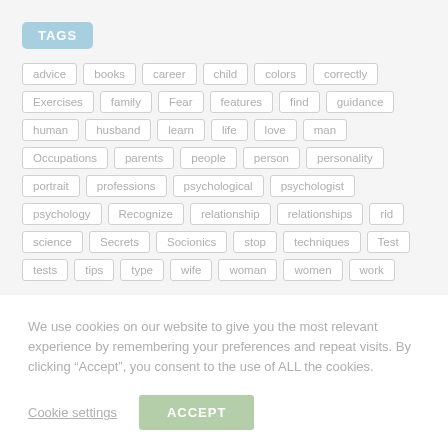TAGS
advice
books
career
child
colors
correctly
Exercises
family
Fear
features
find
guidance
human
husband
learn
life
love
man
Occupations
parents
people
person
personality
portrait
professions
psychological
psychologist
psychology
Recognize
relationship
relationships
rid
science
Secrets
Socionics
stop
techniques
Test
tests
tips
type
wife
woman
women
work
We use cookies on our website to give you the most relevant experience by remembering your preferences and repeat visits. By clicking “Accept”, you consent to the use of ALL the cookies.
Cookie settings   ACCEPT